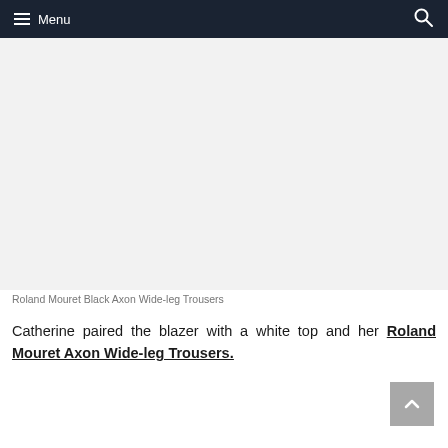Menu
[Figure (photo): Photo of Roland Mouret Black Axon Wide-leg Trousers]
Roland Mouret Black Axon Wide-leg Trousers
Catherine paired the blazer with a white top and her Roland Mouret Axon Wide-leg Trousers.